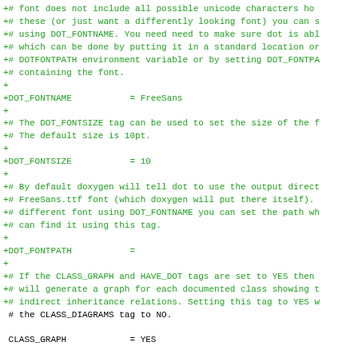Code diff showing DOT_FONTNAME, DOT_FONTSIZE, DOT_FONTPATH, CLASS_GRAPH, and COLLABORATION_GRAPH configuration settings in a Doxygen config file.